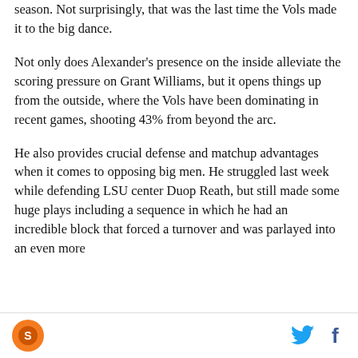season. Not surprisingly, that was the last time the Vols made it to the big dance.
Not only does Alexander's presence on the inside alleviate the scoring pressure on Grant Williams, but it opens things up from the outside, where the Vols have been dominating in recent games, shooting 43% from beyond the arc.
He also provides crucial defense and matchup advantages when it comes to opposing big men. He struggled last week while defending LSU center Duop Reath, but still made some huge plays including a sequence in which he had an incredible block that forced a turnover and was parlayed into an even more